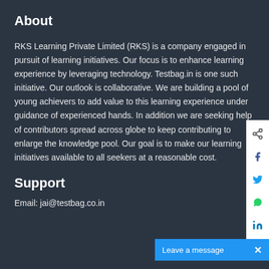About
RKS Learning Private Limited (RKS) is a company engaged in pursuit of learning initiatives. Our focus is to enhance learning experience by leveraging technology. Testbag.in is one such initiative. Our outlook is collaborative. We are building a pool of young achievers to add value to this learning experience under guidance of experienced hands. In addition we are seeking help of contributors spread across globe to keep contributing to enlarge the knowledge pool. Our goal is to make our learning initiatives available to all seekers at a reasonable cost.
Support
Email: jai@testbag.co.in